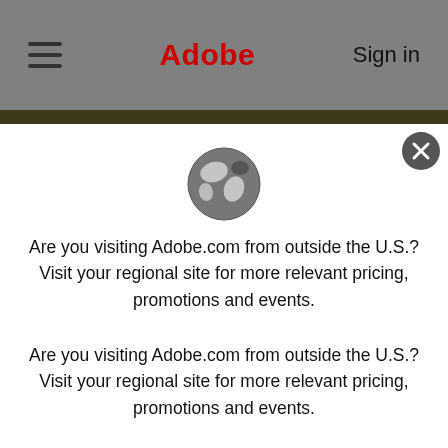Adobe  Sign in
[Figure (screenshot): Adobe website screenshot showing navigation bar with hamburger menu icon, Adobe wordmark in red, and Sign in text on grey background]
Are you visiting Adobe.com from outside the U.S.? Visit your regional site for more relevant pricing, promotions and events.
Are you visiting Adobe.com from outside the U.S.? Visit your regional site for more relevant pricing, promotions and events.
last year.
Download the full report to see all trends and insights.